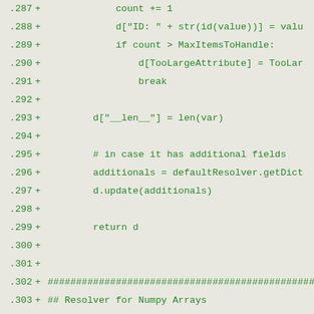[Figure (screenshot): Code diff showing Python source lines 287-307, green text on light grey background. Lines show dictionary operations, a return statement, hash comment banners, and a class definition for NdArrayResolver.]